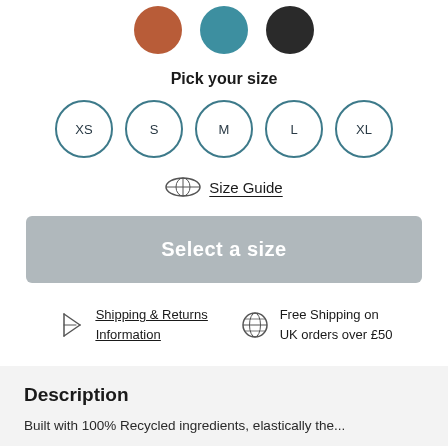[Figure (illustration): Three color swatches: rust/terracotta, teal, and dark/black circles]
Pick your size
[Figure (illustration): Five size selector circles labeled XS, S, M, L, XL with teal outlines]
Size Guide
Select a size
Shipping & Returns Information
Free Shipping on UK orders over £50
Description
Built with 100% Recycled ingredients, elastically the...